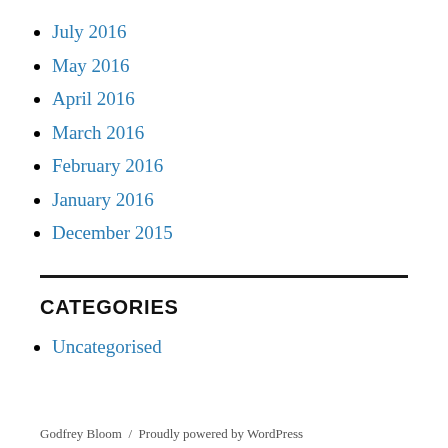July 2016
May 2016
April 2016
March 2016
February 2016
January 2016
December 2015
CATEGORIES
Uncategorised
Godfrey Bloom  /  Proudly powered by WordPress